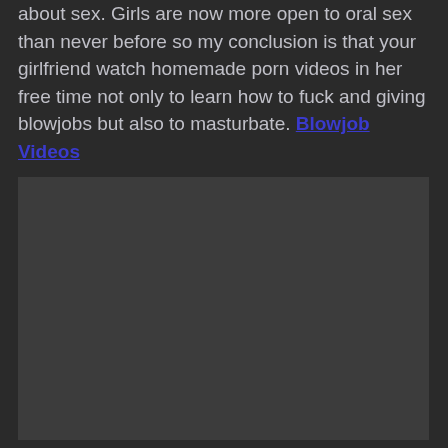about sex. Girls are now more open to oral sex than never before so my conclusion is that your girlfriend watch homemade porn videos in her free time not only to learn how to fuck and giving blowjobs but also to masturbate. Blowjob Videos
[Figure (screenshot): Embedded video player with dark gray background and playback controls showing 0:00 timestamp]